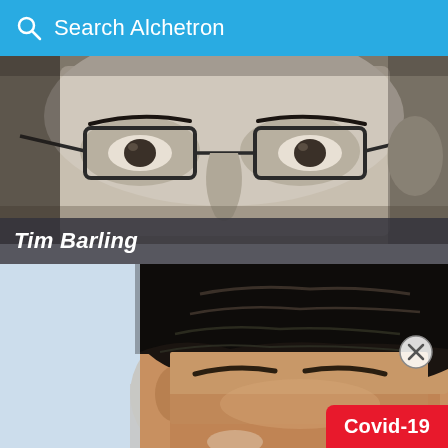Search Alchetron
[Figure (photo): Close-up black and white photo of a man wearing glasses, showing eyes and part of face]
Tim Barling
[Figure (photo): Close-up color photo of a man with dark hair, showing top of face and forehead against a light blue background]
Covid-19